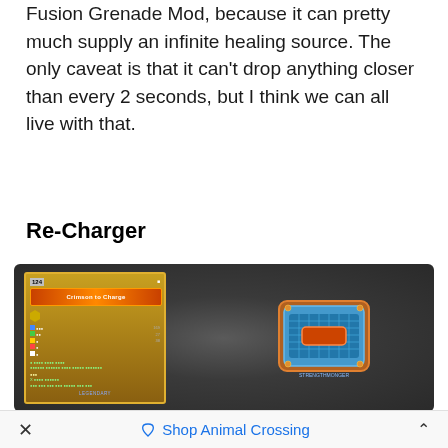Fusion Grenade Mod, because it can pretty much supply an infinite healing source. The only caveat is that it can't drop anything closer than every 2 seconds, but I think we can all live with that.
Re-Charger
[Figure (screenshot): A screenshot from a video game (Borderlands style) showing an in-game inventory item card for a shield called 'Crimson to Charge' with level 124, displayed alongside a 3D rendered shield item on a dark grey radial gradient background.]
× Shop Animal Crossing ^